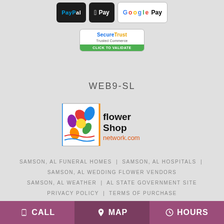[Figure (logo): Payment method logos: PayPal, Apple Pay, Google Pay]
[Figure (logo): SecureTrust Trusted Commerce - Click to Validate badge]
WEB9-SL
[Figure (logo): Flower Shop Network logo with colorful flower graphic]
SAMSON, AL FUNERAL HOMES | SAMSON, AL HOSPITALS | SAMSON, AL WEDDING FLOWER VENDORS
SAMSON, AL WEATHER | AL STATE GOVERNMENT SITE
PRIVACY POLICY | TERMS OF PURCHASE
CALL   MAP   HOURS